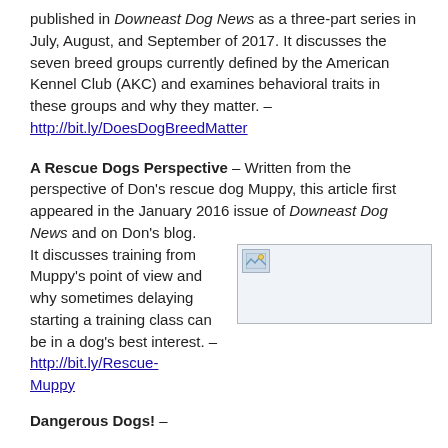published in Downeast Dog News as a three-part series in July, August, and September of 2017. It discusses the seven breed groups currently defined by the American Kennel Club (AKC) and examines behavioral traits in these groups and why they matter. – http://bit.ly/DoesDogBreedMatter
A Rescue Dogs Perspective – Written from the perspective of Don's rescue dog Muppy, this article first appeared in the January 2016 issue of Downeast Dog News and on Don's blog. It discusses training from Muppy's point of view and why sometimes delaying starting a training class can be in a dog's best interest. – http://bit.ly/Rescue-Muppy
[Figure (photo): Broken/placeholder image icon shown in a bordered box]
Dangerous Dogs! –